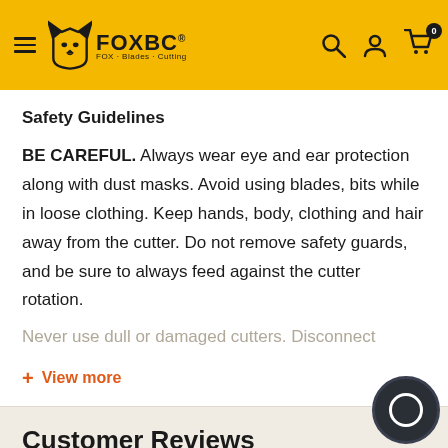FOXBC® — Navigation header with hamburger menu, logo, search, account, and cart icons
Safety Guidelines
BE CAREFUL. Always wear eye and ear protection along with dust masks. Avoid using blades, bits while in loose clothing. Keep hands, body, clothing and hair away from the cutter. Do not remove safety guards, and be sure to always feed against the cutter rotation. Never use dull or damaged cutters. Disconnect
+ View more
Customer Reviews
No reviews yet